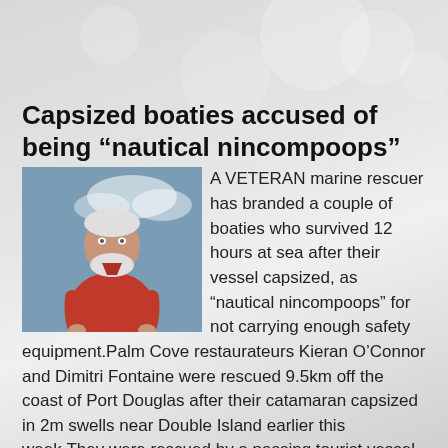Capsized boaties accused of being “nautical nincompoops”
[Figure (photo): An older man with white hair and beard wearing a red polo shirt, standing with hands on hips, photographed outdoors with a blurred background.]
A VETERAN marine rescuer has branded a couple of boaties who survived 12 hours at sea after their vessel capsized, as “nautical nincompoops” for not carrying enough safety equipment.Palm Cove restaurateurs Kieran O’Connor and Dimitri Fontaine were rescued 9.5km off the coast of Port Douglas after their catamaran capsized in 2m swells near Double Island earlier this week.They were rescued by a passing tourist vessel after surviving 12 hours adrift with no food